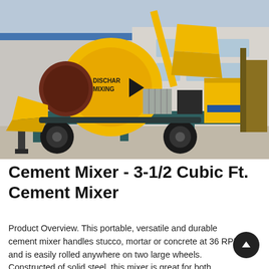[Figure (photo): A large yellow cement mixer machine with a rotating drum, concrete pump, and two large rubber wheels, mounted on a teal/dark-green steel frame platform. The drum shows labels 'DISCHAR' and 'MIXING'. The machine is photographed outdoors in front of a building. Forklift visible at right.]
Cement Mixer - 3-1/2 Cubic Ft. Cement Mixer
Product Overview. This portable, versatile and durable cement mixer handles stucco, mortar or concrete at 36 RPM and is easily rolled anywhere on two large wheels. Constructed of solid steel, this mixer is great for both construction and farm applications and comes with rotation...